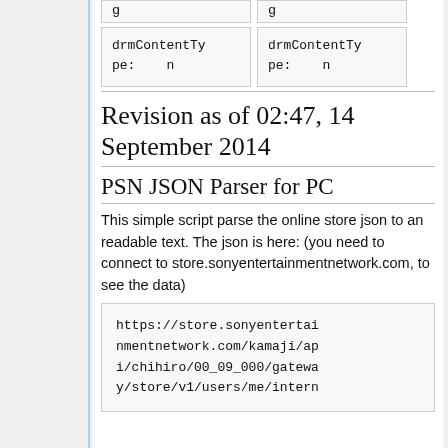| g | g |
| drmContentType:      n | drmContentType:      n |
Revision as of 02:47, 14 September 2014
PSN JSON Parser for PC
This simple script parse the online store json to an readable text. The json is here: (you need to connect to store.sonyentertainmentnetwork.com, to see the data)
https://store.sonyentertainmentnetwork.com/kamaji/api/chihiro/00_09_000/gateway/store/v1/users/me/intern